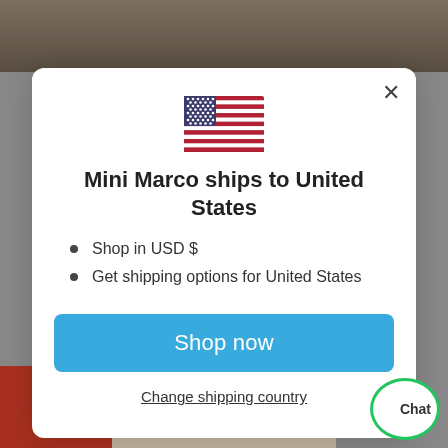[Figure (screenshot): Background with product images (gnomes/decorations on wood, animal photo at bottom)]
[Figure (illustration): US flag emoji]
Mini Marco ships to United States
Shop in USD $
Get shipping options for United States
Shop now
Change shipping country